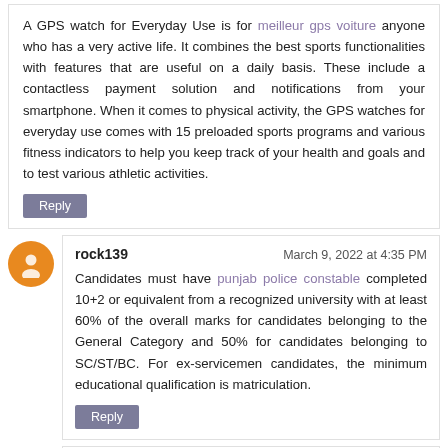A GPS watch for Everyday Use is for meilleur gps voiture anyone who has a very active life. It combines the best sports functionalities with features that are useful on a daily basis. These include a contactless payment solution and notifications from your smartphone. When it comes to physical activity, the GPS watches for everyday use comes with 15 preloaded sports programs and various fitness indicators to help you keep track of your health and goals and to test various athletic activities.
Reply
rock139  March 9, 2022 at 4:35 PM
Candidates must have punjab police constable completed 10+2 or equivalent from a recognized university with at least 60% of the overall marks for candidates belonging to the General Category and 50% for candidates belonging to SC/ST/BC. For ex-servicemen candidates, the minimum educational qualification is matriculation.
Reply